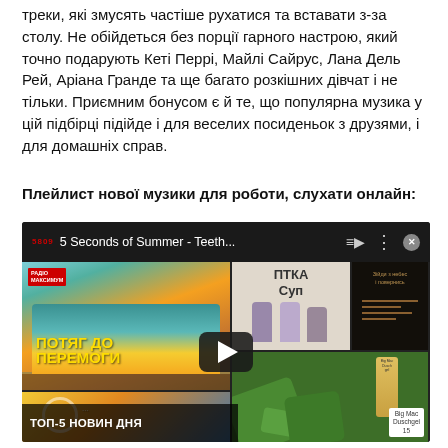треки, які змусять частіше рухатися та вставати з-за столу. Не обійдеться без порції гарного настрою, який точно подарують Кеті Перрі, Майлі Сайрус, Лана Дель Рей, Аріана Гранде та ще багато розкішних дівчат і не тільки. Приємним бонусом є й те, що популярна музика у цій підбірці підійде і для веселих посиденьок з друзями, і для домашніх справ.
Плейлист нової музики для роботи, слухати онлайн:
[Figure (screenshot): Embedded YouTube-style music player showing '5 Seconds of Summer - Teeth...' playlist with thumbnail grid including a colorful train image with Ukrainian text 'ПОТЯГ ДО ПЕРЕМОГИ', a cartoon illustration labeled 'ПТКА Суп', a dark album cover, a carousel thumbnail, and an advertisement for 'Big Mac Duschgel'. Bottom overlay shows 'ТОП-5 НОВИН ДНЯ'.]